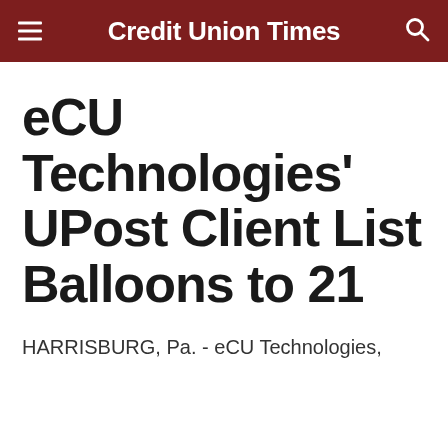Credit Union Times
eCU Technologies' UPost Client List Balloons to 21
HARRISBURG, Pa. - eCU Technologies,